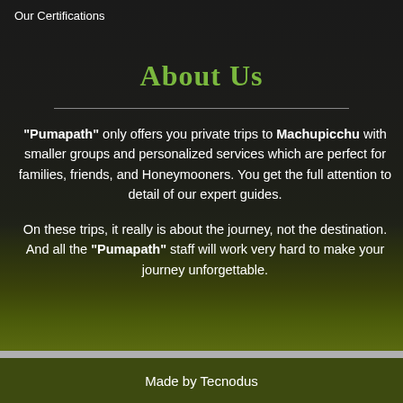Our Certifications
About Us
“Pumapath” only offers you private trips to Machupicchu with smaller groups and personalized services which are perfect for families, friends, and Honeymooners. You get the full attention to detail of our expert guides.

On these trips, it really is about the journey, not the destination. And all the “Pumapath” staff will work very hard to make your journey unforgettable.
Made by Tecnodus